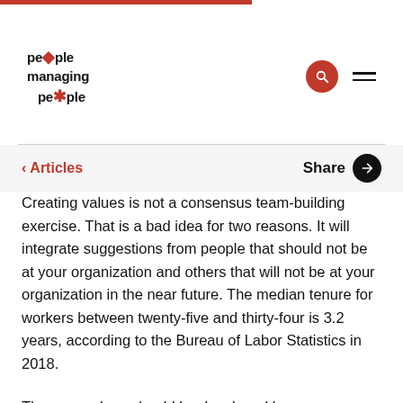people managing people
< Articles   Share
Creating values is not a consensus team-building exercise. That is a bad idea for two reasons. It will integrate suggestions from people that should not be at your organization and others that will not be at your organization in the near future. The median tenure for workers between twenty-five and thirty-four is 3.2 years, according to the Bureau of Labor Statistics in 2018.
The core values should be developed by a core